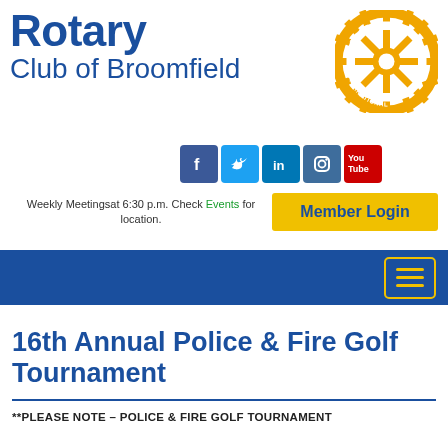[Figure (logo): Rotary International gear/wheel logo in orange and gold with 'ROTARY' and 'INTERNATIONAL' text]
Rotary Club of Broomfield
[Figure (infographic): Social media icons: Facebook, Twitter, LinkedIn, Instagram, YouTube]
Weekly Meetingsat 6:30 p.m. Check Events for location.
[Figure (infographic): Member Login button (yellow background, blue bold text)]
[Figure (infographic): Navigation bar with hamburger menu icon (yellow lines on blue background)]
16th Annual Police & Fire Golf Tournament
**PLEASE NOTE – POLICE & FIRE GOLF TOURNAMENT